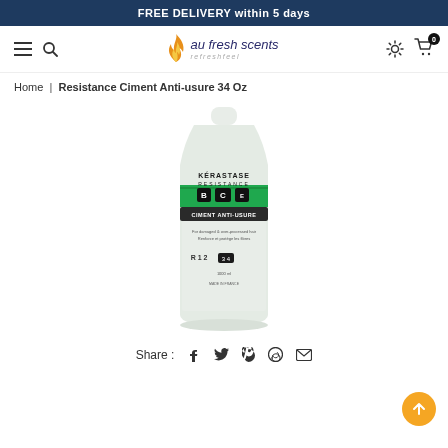FREE DELIVERY within 5 days
[Figure (logo): Au Fresh Scents logo with flame icon and italic text]
Home | Resistance Ciment Anti-usure 34 Oz
[Figure (photo): Kerastase Resistance Ciment Anti-usure 34 Oz bottle product photo on white background]
Share : (social share icons: Facebook, Twitter, Pinterest, WhatsApp, Email)